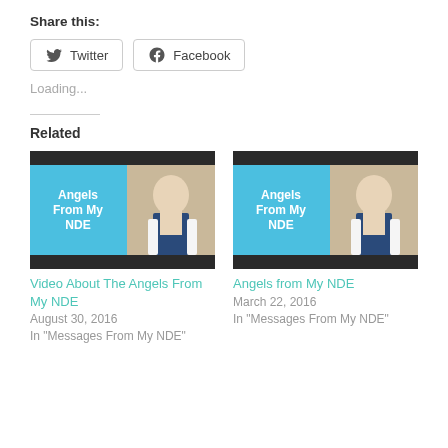Share this:
Twitter  Facebook
Loading...
Related
[Figure (photo): Thumbnail image for 'Video About The Angels From My NDE' - blue panel with text 'Angels From My NDE' next to photo of blond woman in white jacket]
Video About The Angels From My NDE
August 30, 2016
In "Messages From My NDE"
[Figure (photo): Thumbnail image for 'Angels from My NDE' - blue panel with text 'Angels From My NDE' next to photo of blond woman in white jacket]
Angels from My NDE
March 22, 2016
In "Messages From My NDE"